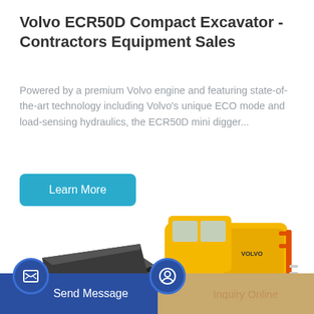Volvo ECR50D Compact Excavator - Contractors Equipment Sales
Powered by a premium Volvo engine and featuring state-of-the-art technology including Volvo's unique ECO mode and load-sensing hydraulics, the ECR50D mini digger...
[Figure (illustration): Yellow Volvo wheel loader construction machine with large front bucket, photographed from the front-left angle on a white background.]
Learn More
Send Message
Inquiry Online